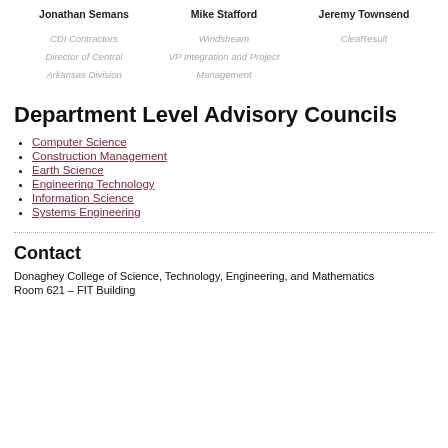Jonathan Semans | Mike Stafford | Jeremy Townsend
CDI Contractors | Director of Central Arkansas Division | Windstream | VP Integration and Project Management | CleaResult
Department Level Advisory Councils
Computer Science
Construction Management
Earth Science
Engineering Technology
Information Science
Systems Engineering
Contact
Donaghey College of Science, Technology, Engineering, and Mathematics
Room 621 – FIT Building